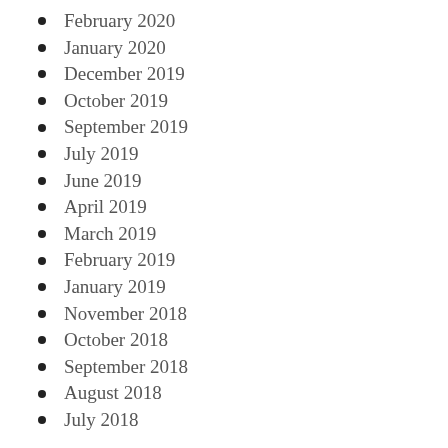February 2020
January 2020
December 2019
October 2019
September 2019
July 2019
June 2019
April 2019
March 2019
February 2019
January 2019
November 2018
October 2018
September 2018
August 2018
July 2018